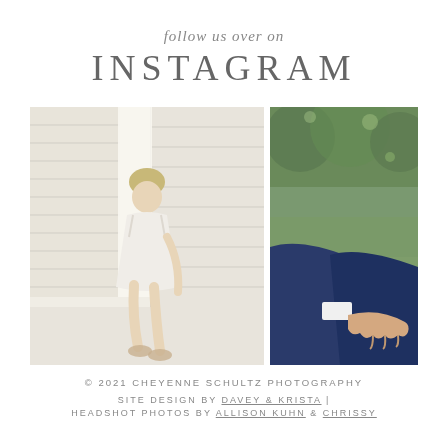follow us over on
INSTAGRAM
[Figure (photo): Two wedding photos side by side: left shows a bride in a white dress sitting and adjusting her shoe in a bright room with shuttered windows; right shows a groom's hand reaching out toward someone on a green outdoor lawn.]
© 2021 CHEYENNE SCHULTZ PHOTOGRAPHY
SITE DESIGN BY DAVEY & KRISTA |
HEADSHOT PHOTOS BY ALLISON KUHN & CHRISSY